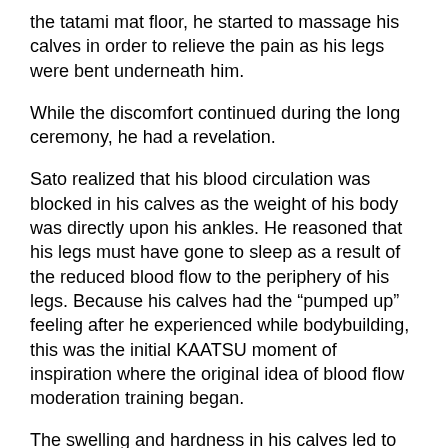the tatami mat floor, he started to massage his calves in order to relieve the pain as his legs were bent underneath him.
While the discomfort continued during the long ceremony, he had a revelation.
Sato realized that his blood circulation was blocked in his calves as the weight of his body was directly upon his ankles. He reasoned that his legs must have gone to sleep as a result of the reduced blood flow to the periphery of his legs. Because his calves had the “pumped up” feeling after he experienced while bodybuilding, this was the initial KAATSU moment of inspiration where the original idea of blood flow moderation training began.
The swelling and hardness in his calves led to Sato asking himself the key question that began KAATSU.
“I wonder if purposefully constricting blood flow could artificially replicate the physiological conditions of hard training. If this were true, could benefits be realized by only